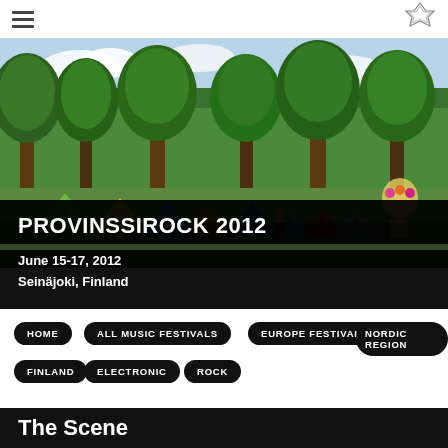[Figure (photo): Outdoor music festival campsite with colorful tents, people, and trees in background on a sunny day]
PROVINSSIROCK 2012
June 15-17, 2012
Seinäjoki, Finland
HOME
ALL MUSIC FESTIVALS
EUROPE FESTIVALS
NORDIC REGION
FINLAND
ELECTRONIC
ROCK
The Scene